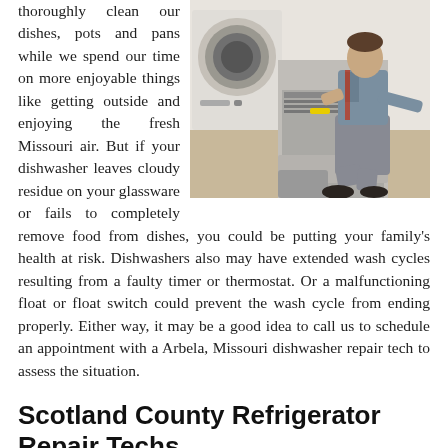[Figure (photo): A technician in work clothes crouching down and repairing or inspecting an open dishwasher in a kitchen, holding a tool. A washing machine is visible in the background.]
thoroughly clean our dishes, pots and pans while we spend our time on more enjoyable things like getting outside and enjoying the fresh Missouri air. But if your dishwasher leaves cloudy residue on your glassware or fails to completely remove food from dishes, you could be putting your family's health at risk. Dishwashers also may have extended wash cycles resulting from a faulty timer or thermostat. Or a malfunctioning float or float switch could prevent the wash cycle from ending properly. Either way, it may be a good idea to call us to schedule an appointment with a Arbela, Missouri dishwasher repair tech to assess the situation.
Scotland County Refrigerator Repair Techs
A refrigerator may be the most important appliance in your